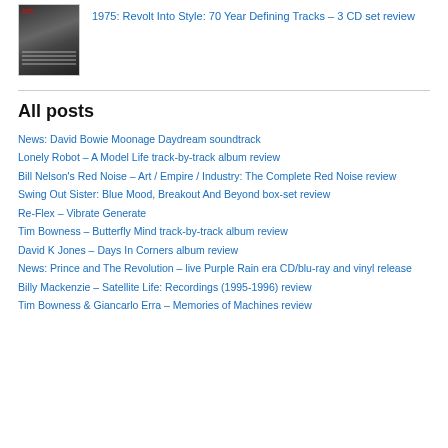[Figure (photo): Album cover thumbnail, dark background with grid/text elements and a red logo at top left]
1975: Revolt Into Style: 70 Year Defining Tracks – 3 CD set review
All posts
News: David Bowie Moonage Daydream soundtrack
Lonely Robot – A Model Life track-by-track album review
Bill Nelson's Red Noise – Art / Empire / Industry: The Complete Red Noise review
Swing Out Sister: Blue Mood, Breakout And Beyond box-set review
Re-Flex – Vibrate Generate
Tim Bowness – Butterfly Mind track-by-track album review
David K Jones – Days In Corners album review
News: Prince and The Revolution – live Purple Rain era CD/blu-ray and vinyl release
Billy Mackenzie – Satellite Life: Recordings (1995-1996) review
Tim Bowness & Giancarlo Erra – Memories of Machines review